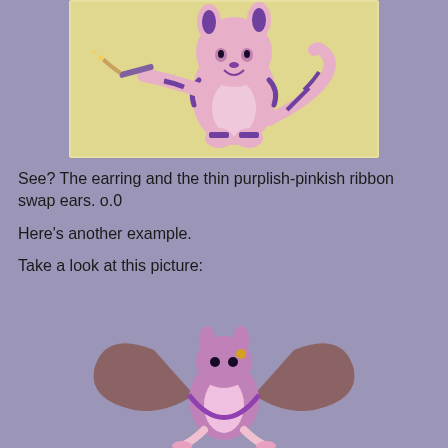[Figure (illustration): A pink cartoon cat/raccoon character with purple stripes holding a paintbrush, set against a light yellow background. The character has purple striped tail and accessories.]
See? The earring and the thin purplish-pinkish ribbon swap ears. o.0
Here's another example.
Take a look at this picture:
[Figure (illustration): A purple and pink cartoon character (possibly a rabbit or similar creature) in an acrobatic pose, with brown/mauve wings or arms, against a transparent/grey background.]